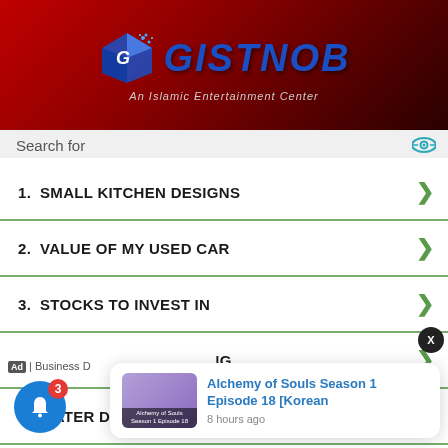[Figure (logo): GISTNOB logo with blue cube icon and blue bold italic text, subtitle 'An Islamic Entertainment Center', on dark red gradient background]
Search for
1.  SMALL KITCHEN DESIGNS
2.  VALUE OF MY USED CAR
3.  STOCKS TO INVEST IN
4.  WATCH LIVE STREAMING
5.  WATER DAMAGED WALL REPAIR
6.  TOP STOCKS TO BUY
Ad | Business D...
Alchemy of Souls Season 1 Episode 18 [Korean
8 hours ago